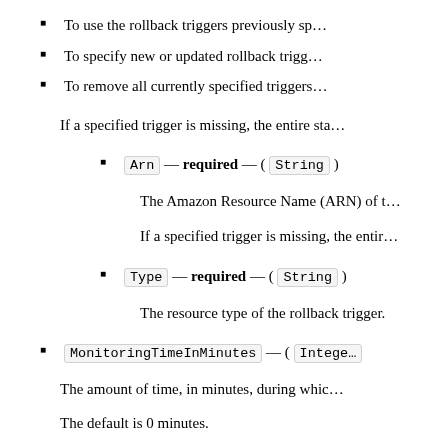To use the rollback triggers previously sp…
To specify new or updated rollback trigg…
To remove all currently specified triggers…
If a specified trigger is missing, the entire sta…
Arn — required — ( String )
The Amazon Resource Name (ARN) of t…
If a specified trigger is missing, the entir…
Type — required — ( String )
The resource type of the rollback trigger.
MonitoringTimeInMinutes — ( Intege…
The amount of time, in minutes, during whic…
The default is 0 minutes.